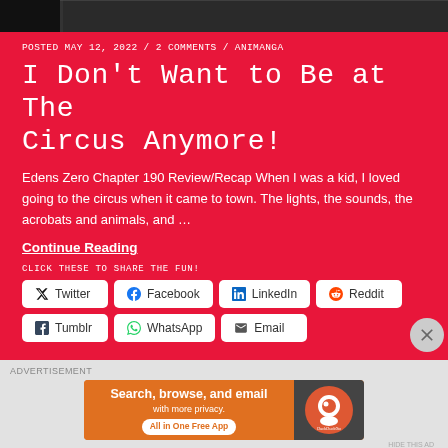[Figure (photo): Black and white manga/anime style image at top of page, partially cropped]
POSTED MAY 12, 2022 / 2 COMMENTS / ANIMANGA
I Don't Want to Be at The Circus Anymore!
Edens Zero Chapter 190 Review/Recap When I was a kid, I loved going to the circus when it came to town. The lights, the sounds, the acrobats and animals, and …
Continue Reading
CLICK THESE TO SHARE THE FUN!
Twitter  Facebook  LinkedIn  Reddit  Tumblr  WhatsApp  Email
[Figure (screenshot): DuckDuckGo advertisement banner: Search, browse, and email with more privacy. All in One Free App]
ADVERTISEMENT